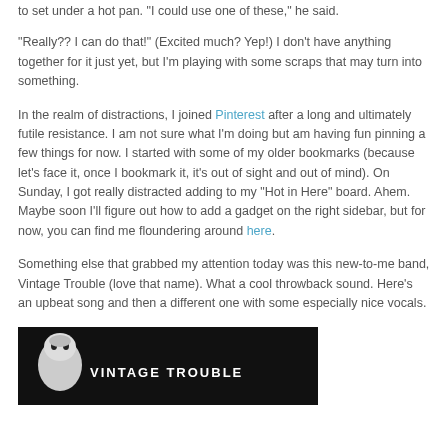to set under a hot pan. "I could use one of these," he said.
"Really??  I can do that!"  (Excited much? Yep!)  I don't have anything together for it just yet, but I'm playing with some scraps that may turn into something.
In the realm of distractions, I joined Pinterest after a long and ultimately futile resistance.  I am not sure what I'm doing but am having fun pinning a few things for now.  I started with some of my older bookmarks (because let's face it, once I bookmark it, it's out of sight and out of mind).  On Sunday, I got really distracted adding to my "Hot in Here" board.  Ahem.  Maybe soon I'll figure out how to add a gadget on the right sidebar, but for now, you can find me floundering around here.
Something else that grabbed my attention today was this new-to-me band, Vintage Trouble (love that name).  What a cool throwback sound.  Here's an upbeat song and then a different one with some especially nice vocals.
[Figure (photo): Black and white image at the bottom of the page, appears to show a face and text reading VINTAGE TROUBLE in large letters]